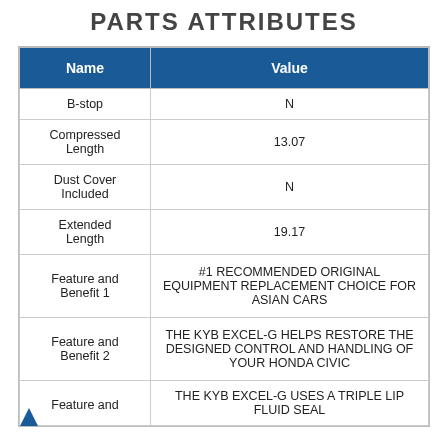PARTS ATTRIBUTES
| Name | Value |
| --- | --- |
| B-stop | N |
| Compressed Length | 13.07 |
| Dust Cover Included | N |
| Extended Length | 19.17 |
| Feature and Benefit 1 | #1 RECOMMENDED ORIGINAL EQUIPMENT REPLACEMENT CHOICE FOR ASIAN CARS |
| Feature and Benefit 2 | THE KYB EXCEL-G HELPS RESTORE THE DESIGNED CONTROL AND HANDLING OF YOUR HONDA CIVIC |
| Feature and ... | THE KYB EXCEL-G USES A TRIPLE LIP FLUID SEAL |